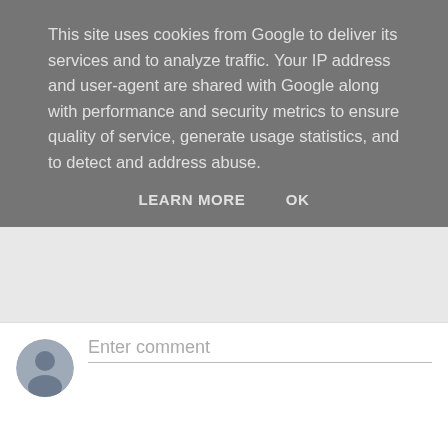This site uses cookies from Google to deliver its services and to analyze traffic. Your IP address and user-agent are shared with Google along with performance and security metrics to ensure quality of service, generate usage statistics, and to detect and address abuse.
LEARN MORE   OK
Enter comment
Newer Post   Home
Subscribe to: Post Comments (Atom)